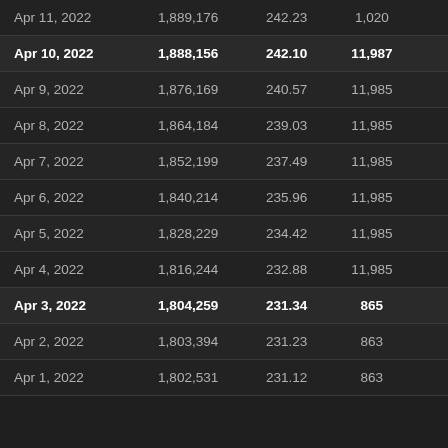| Date | Col2 | Col3 | Col4 |  |
| --- | --- | --- | --- | --- |
| Apr 11, 2022 | 1,889,176 | 242.23 | 1,020 |  |
| Apr 10, 2022 | 1,888,156 | 242.10 | 11,987 |  |
| Apr 9, 2022 | 1,876,169 | 240.57 | 11,985 |  |
| Apr 8, 2022 | 1,864,184 | 239.03 | 11,985 |  |
| Apr 7, 2022 | 1,852,199 | 237.49 | 11,985 |  |
| Apr 6, 2022 | 1,840,214 | 235.96 | 11,985 |  |
| Apr 5, 2022 | 1,828,229 | 234.42 | 11,985 |  |
| Apr 4, 2022 | 1,816,244 | 232.88 | 11,985 |  |
| Apr 3, 2022 | 1,804,259 | 231.34 | 865 |  |
| Apr 2, 2022 | 1,803,394 | 231.23 | 863 |  |
| Apr 1, 2022 | 1,802,531 | 231.12 | 863 |  |